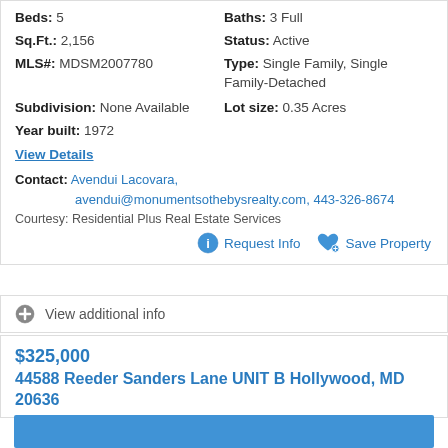Beds: 5
Baths: 3 Full
Sq.Ft.: 2,156
Status: Active
MLS#: MDSM2007780
Type: Single Family, Single Family-Detached
Subdivision: None Available
Lot size: 0.35 Acres
Year built: 1972
View Details
Contact: Avendui Lacovara, avendui@monumentsothebysrealty.com, 443-326-8674
Courtesy: Residential Plus Real Estate Services
Request Info
Save Property
View additional info
$325,000
44588 Reeder Sanders Lane UNIT B Hollywood, MD 20636